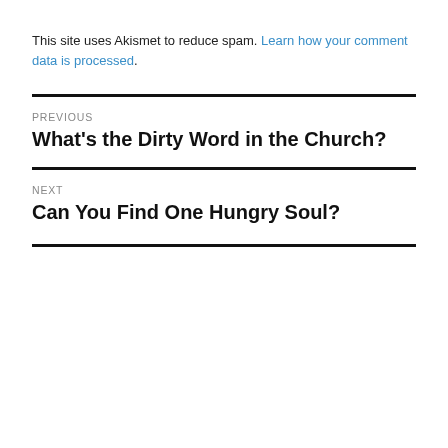This site uses Akismet to reduce spam. Learn how your comment data is processed.
PREVIOUS
What's the Dirty Word in the Church?
NEXT
Can You Find One Hungry Soul?